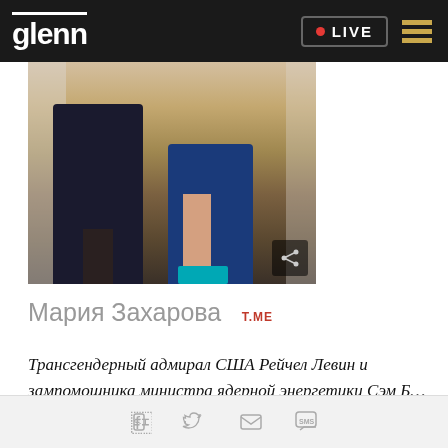glenn | LIVE
[Figure (photo): Two people photographed from waist down. One in dark uniform/military attire with black shoes, the other in a short blue dress with bright blue heeled shoes. Interior event venue setting.]
Мария Захарова  T.ME
Трансгендерный адмирал США Рейчел Левин и зампомощника министра ядерной энергетики Сэм Б...
Social share icons: Facebook, Twitter, Email, SMS